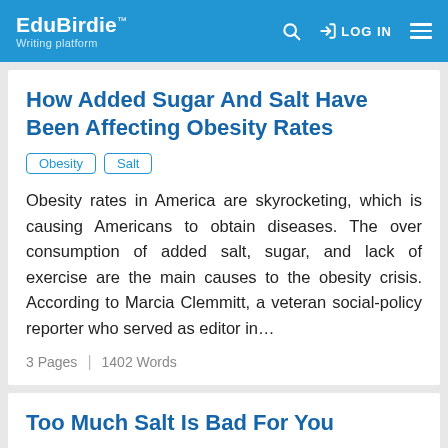EduBirdie™ Writing platform | LOG IN
How Added Sugar And Salt Have Been Affecting Obesity Rates
Obesity
Salt
Obesity rates in America are skyrocketing, which is causing Americans to obtain diseases. The over consumption of added salt, sugar, and lack of exercise are the main causes to the obesity crisis. According to Marcia Clemmitt, a veteran social-policy reporter who served as editor in...
3 Pages | 1402 Words
Too Much Salt Is Bad For You
Salt